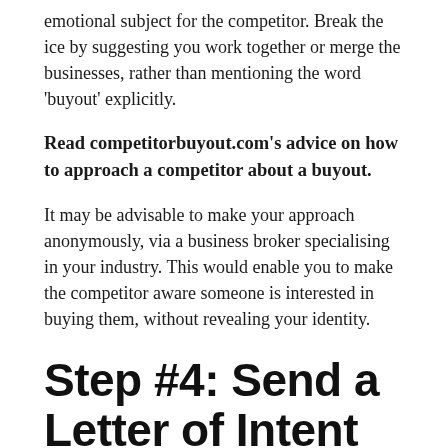emotional subject for the competitor. Break the ice by suggesting you work together or merge the businesses, rather than mentioning the word 'buyout' explicitly.
Read competitorbuyout.com's advice on how to approach a competitor about a buyout.
It may be advisable to make your approach anonymously, via a business broker specialising in your industry. This would enable you to make the competitor aware someone is interested in buying them, without revealing your identity.
Step #4: Send a Letter of Intent for Business